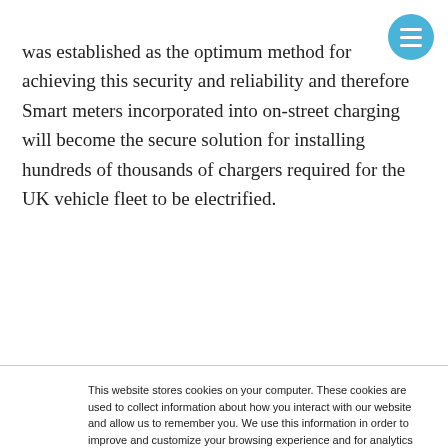was established as the optimum method for achieving this security and reliability and therefore Smart meters incorporated into on-street charging will become the secure solution for installing hundreds of thousands of chargers required for the UK vehicle fleet to be electrified.
This website stores cookies on your computer. These cookies are used to collect information about how you interact with our website and allow us to remember you. We use this information in order to improve and customize your browsing experience and for analytics and metrics about our visitors both on this website and other media. To find out more about the cookies we use, see our Privacy Policy
If you decline, your information won't be tracked when you visit this website. A single cookie will be used in your browser to remember your preference not to be tracked.
Cookies settings | Accept | Decline